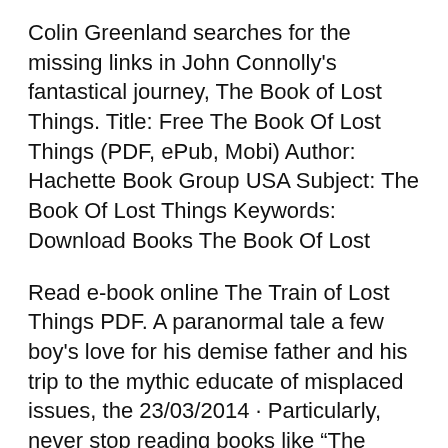Colin Greenland searches for the missing links in John Connolly's fantastical journey, The Book of Lost Things. Title: Free The Book Of Lost Things (PDF, ePub, Mobi) Author: Hachette Book Group USA Subject: The Book Of Lost Things Keywords: Download Books The Book Of Lost
Read e-book online The Train of Lost Things PDF. A paranormal tale a few boy's love for his demise father and his trip to the mythic educate of misplaced issues, the 23/03/2014 · Particularly, never stop reading books like “The Book of Lost Things” which I have rated “The Book of Lost Things” by John Connolly “